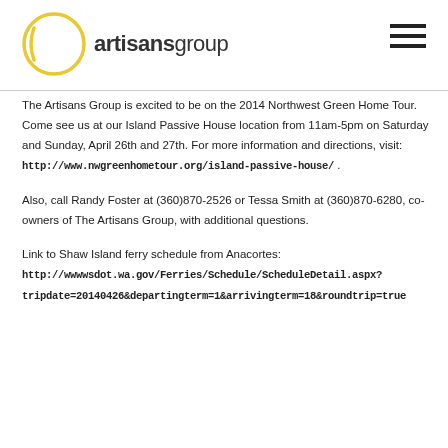[Figure (logo): Artisans Group logo with yellow circle and text 'artisansgroup']
The Artisans Group is excited to be on the 2014 Northwest Green Home Tour. Come see us at our Island Passive House location from 11am-5pm on Saturday and Sunday, April 26th and 27th. For more information and directions, visit:
http://www.nwgreenhometour.org/island-passive-house/ .
Also, call Randy Foster at (360)870-2526 or Tessa Smith at (360)870-6280, co-owners of The Artisans Group, with additional questions.
Link to Shaw Island ferry schedule from Anacortes:
http://www.wsdot.wa.gov/Ferries/Schedule/ScheduleDetail.aspx?tripdate=20140426&departingterm=1&arrivingterm=18&roundtrip=true